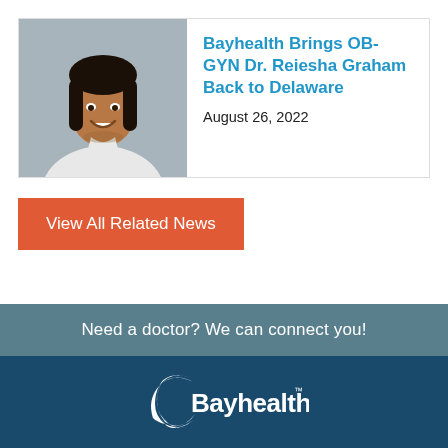[Figure (photo): Headshot of Dr. Reiesha Graham, a woman smiling, wearing a white coat, against a grey background]
Bayhealth Brings OB-GYN Dr. Reiesha Graham Back to Delaware
August 26, 2022
View All Related News
Need a doctor? We can connect you!
[Figure (logo): Bayhealth logo in white on dark blue background]